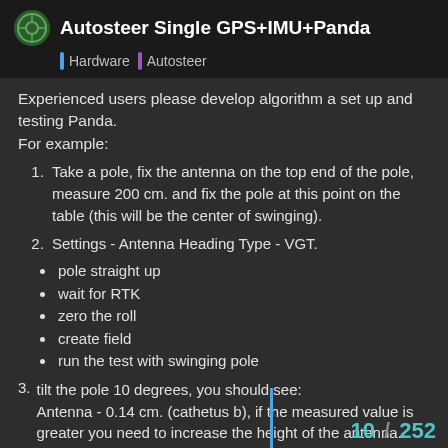Autosteer Single GPS+IMU+Panda — Hardware | Autosteer
Experienced users please develop algorithm a set up and testing Panda.
For example:
1. Take a pole, fix the antenna on the top end of the pole, measure 200 cm. and fix the pole at this point on the table (this will be the center of swinging).
2. Settings - Antenna Heading Type - VGT.
pole straight up
wait for RTK
zero the roll
create field
run the test with swinging pole
3. tilt the pole 10 degrees, you should see:
Antenna - 0.14 cm. (cathetus b), if the measured value is greater you need to increase the height of the antenna.
Correction Distance - -0.18 cm.
Correction Easting - -0.04 cm.
10 / 252